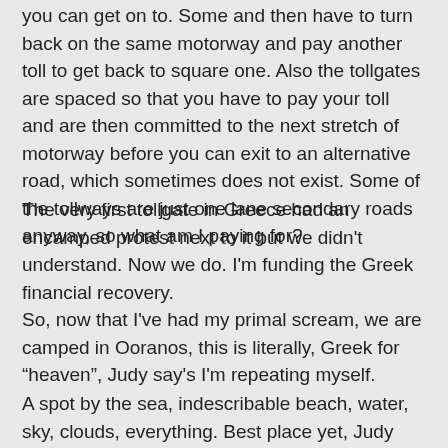you can get on to. Some and then have to turn back on the same motorway and pay another toll to get back to square one. Also the tollgates are spaced so that you have to pay your toll and are then committed to the next stretch of motorway before you can exit to an alternative road, which sometimes does not exist. Some of the tollways are just one lane secondary roads anyway, so what am I paying for?
The very first tollgate in Greece had an encamped protest next to it but we didn't understand. Now we do. I'm funding the Greek financial recovery.
So, now that I've had my primal scream, we are camped in Ooranos, this is literally, Greek for “heaven”, Judy say's I'm repeating myself.
A spot by the sea, indescribable beach, water, sky, clouds, everything. Best place yet, Judy say's I'm repeating myself.